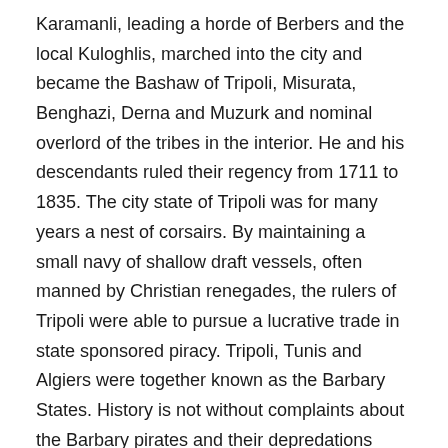Karamanli, leading a horde of Berbers and the local Kuloghlis, marched into the city and became the Bashaw of Tripoli, Misurata, Benghazi, Derna and Muzurk and nominal overlord of the tribes in the interior. He and his descendants ruled their regency from 1711 to 1835. The city state of Tripoli was for many years a nest of corsairs. By maintaining a small navy of shallow draft vessels, often manned by Christian renegades, the rulers of Tripoli were able to pursue a lucrative trade in state sponsored piracy. Tripoli, Tunis and Algiers were together known as the Barbary States. History is not without complaints about the Barbary pirates and their depredations around the Mediterranean shores and their preying on merchant vessels. Tripoli was the lesser of the three Barbary States, with the smallest corsair fleet The state sponsored piracy led to a war with the USA.